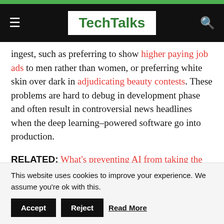TechTalks
ingest, such as preferring to show higher paying job ads to men rather than women, or preferring white skin over dark in adjudicating beauty contests. These problems are hard to debug in development phase and often result in controversial news headlines when the deep learning–powered software go into production.
RELATED: What's preventing AI from taking the next big leap?
This website uses cookies to improve your experience. We assume you're ok with this. Accept Reject Read More